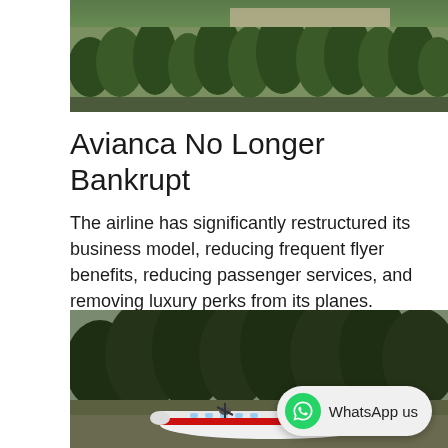[Figure (photo): Aerial or ground-level photo of trees and a building in the background, greenery visible]
Avianca No Longer Bankrupt
The airline has significantly restructured its business model, reducing frequent flyer benefits, reducing passenger services, and removing luxury perks from its planes.
Posted On December 1, 2021, By Loren Moss
[Figure (photo): Photo of a red and white Avianca turboprop aircraft on a runway with trees in the background, WhatsApp us badge in the bottom right corner]